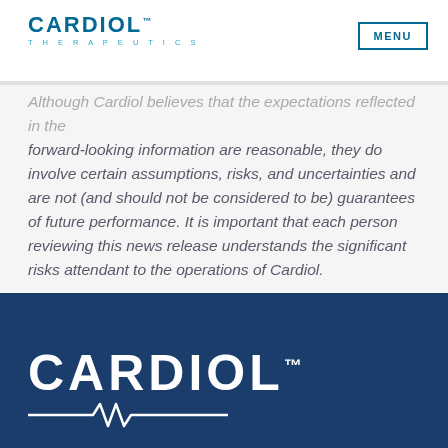CARDIOL™ THERAPEUTICS | MENU
Although Cardiol believes that the expectations reflected in the forward-looking information are reasonable, they do involve certain assumptions, risks, and uncertainties and are not (and should not be considered to be) guarantees of future performance. It is important that each person reviewing this news release understands the significant risks attendant to the operations of Cardiol.
[Figure (logo): Cardiol Therapeutics logo in white on dark navy blue footer background, with stylized heartbeat line underneath the text]